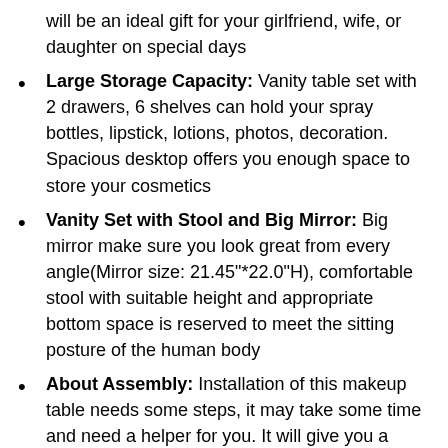will be an ideal gift for your girlfriend, wife, or daughter on special days
Large Storage Capacity: Vanity table set with 2 drawers, 6 shelves can hold your spray bottles, lipstick, lotions, photos, decoration. Spacious desktop offers you enough space to store your cosmetics
Vanity Set with Stool and Big Mirror: Big mirror make sure you look great from every angle(Mirror size: 21.45"*22.0"H), comfortable stool with suitable height and appropriate bottom space is reserved to meet the sitting posture of the human body
About Assembly: Installation of this makeup table needs some steps, it may take some time and need a helper for you. It will give you a surprise if you stick to it,USIKEY provides professional customer service before and after your purchase, so don't hesitate anymore and enjoy it